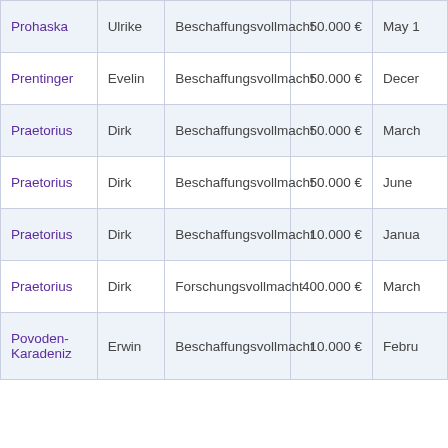| Last Name | First Name | Type | Amount | Date |
| --- | --- | --- | --- | --- |
| Prohaska | Ulrike | Beschaffungsvollmacht | 50.000 € | May 1… |
| Prentinger | Evelin | Beschaffungsvollmacht | 50.000 € | Decem… |
| Praetorius | Dirk | Beschaffungsvollmacht | 50.000 € | March… |
| Praetorius | Dirk | Beschaffungsvollmacht | 50.000 € | June … |
| Praetorius | Dirk | Beschaffungsvollmacht | 10.000 € | Janua… |
| Praetorius | Dirk | Forschungsvollmacht | 400.000 € | March… |
| Povoden-Karadeniz | Erwin | Beschaffungsvollmacht | 10.000 € | Febru… |